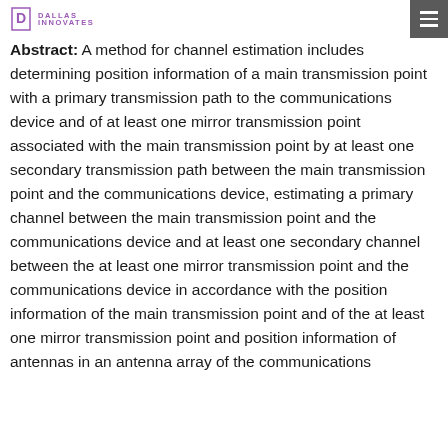Dallas Innovates
Abstract: A method for channel estimation includes determining position information of a main transmission point with a primary transmission path to the communications device and of at least one mirror transmission point associated with the main transmission point by at least one secondary transmission path between the main transmission point and the communications device, estimating a primary channel between the main transmission point and the communications device and at least one secondary channel between the at least one mirror transmission point and the communications device in accordance with the position information of the main transmission point and of the at least one mirror transmission point and position information of antennas in an antenna array of the communications